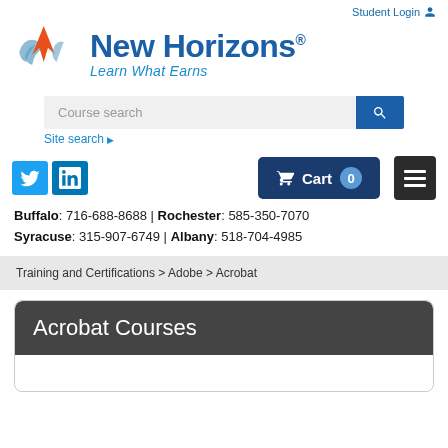Student Login
[Figure (logo): New Horizons logo with tagline 'Learn What Earns']
Course search
Site search ▶
[Figure (infographic): Twitter and LinkedIn social icons, Cart button with 0 items, and hamburger menu button]
Buffalo: 716-688-8688 | Rochester: 585-350-7070
Syracuse: 315-907-6749 | Albany: 518-704-4985
Training and Certifications > Adobe > Acrobat
Acrobat Courses